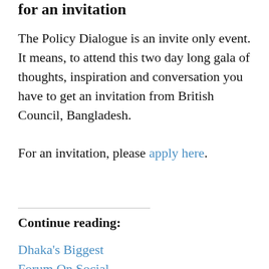for an invitation
The Policy Dialogue is an invite only event. It means, to attend this two day long gala of thoughts, inspiration and conversation you have to get an invitation from British Council, Bangladesh.

For an invitation, please apply here.
Continue reading:
Dhaka's Biggest Forum On Social